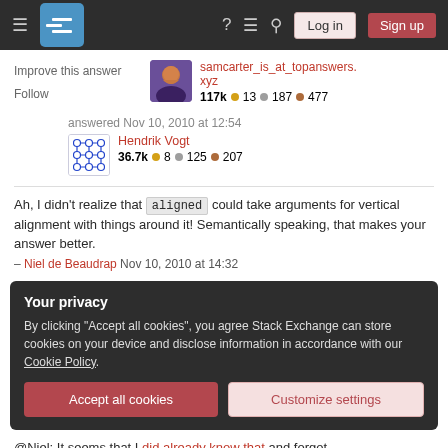Stack Exchange navigation bar with Log in and Sign up buttons
Improve this answer
Follow
samcarter_is_at_topanswers.xyz
117k 13 187 477
answered Nov 10, 2010 at 12:54
Hendrik Vogt
36.7k 8 125 207
Ah, I didn't realize that aligned could take arguments for vertical alignment with things around it! Semantically speaking, that makes your answer better.
– Niel de Beaudrap Nov 10, 2010 at 14:32
Your privacy
By clicking "Accept all cookies", you agree Stack Exchange can store cookies on your device and disclose information in accordance with our Cookie Policy.
Accept all cookies
Customize settings
@Niel: It seems that I did already know that and forgot